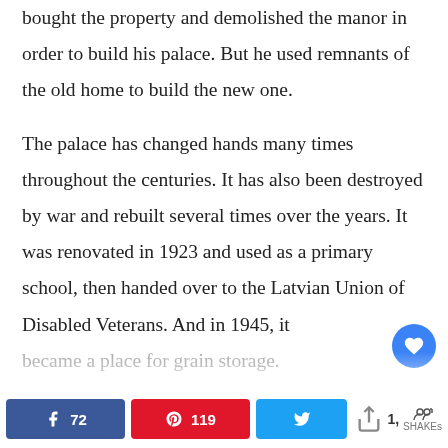bought the property and demolished the manor in order to build his palace. But he used remnants of the old home to build the new one.

The palace has changed hands many times throughout the centuries. It has also been destroyed by war and rebuilt several times over the years. It was renovated in 1923 and used as a primary school, then handed over to the Latvian Union of Disabled Veterans. And in 1945, it became a place for grain storage.